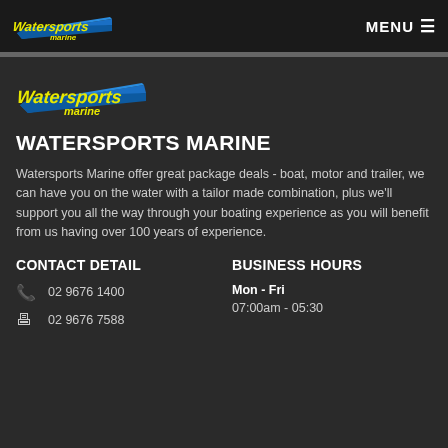Watersports Marine — MENU
[Figure (logo): Watersports Marine logo with blue speedboat and yellow italic text]
WATERSPORTS MARINE
Watersports Marine offer great package deals - boat, motor and trailer, we can have you on the water with a tailor made combination, plus we'll support you all the way through your boating experience as you will benefit from us having over 100 years of experience.
CONTACT DETAIL
BUSINESS HOURS
02 9676 1400
02 9676 7588
Mon - Fri
07:00am - 05:30